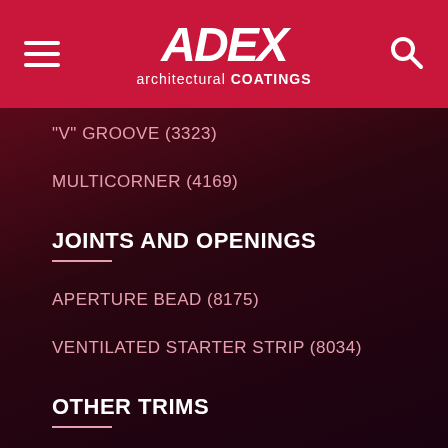ADEX architectural COATINGS
"V" GROOVE (3323)
MULTICORNER (4169)
JOINTS AND OPENINGS
APERTURE BEAD (8175)
VENTILATED STARTER STRIP (8034)
OTHER TRIMS
A-FLASH TRIM
A-TRACK2 TRIM